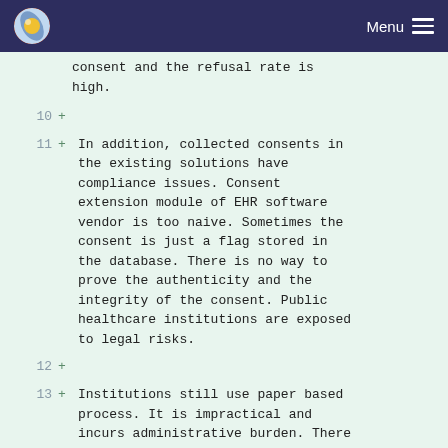Menu
consent and the refusal rate is high.
10 +
11 + In addition, collected consents in the existing solutions have compliance issues. Consent extension module of EHR software vendor is too naive. Sometimes the consent is just a flag stored in the database. There is no way to prove the authenticity and the integrity of the consent. Public healthcare institutions are exposed to legal risks.
12 +
13 + Institutions still use paper based process. It is impractical and incurs administrative burden. There is 2000 complains per year in Luxembourg on the average and file a court case takes several days.